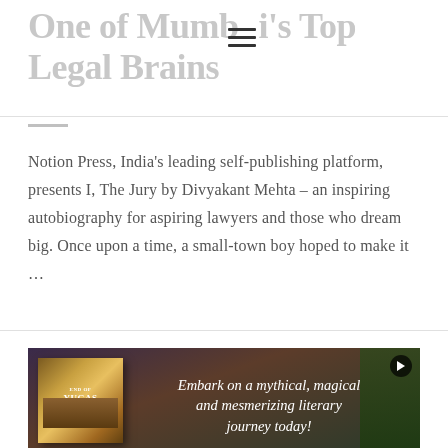One of Mumbai's Top Legal Brains
Notion Press, India's leading self-publishing platform, presents I, The Jury by Divyakant Mehta – an inspiring autobiography for aspiring lawyers and those who dream big. Once upon a time, a small-town boy hoped to make it …
READ MORE
[Figure (photo): Book cover of 'End of Yugas Series' with a dark background showing a hut and tree. Overlaid text reads: 'Embark on a mythical, magical and mesmerizing literary journey today!']